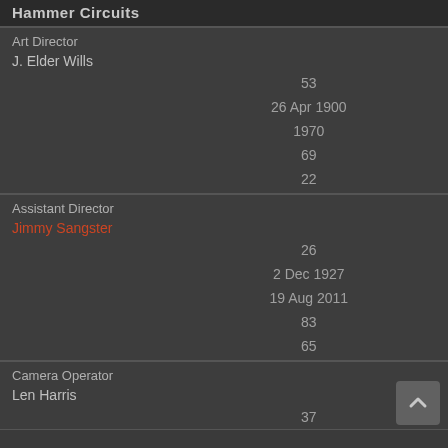Hammer Circuits
Art Director
J. Elder Wills
53
26 Apr 1900
1970
69
22
Assistant Director
Jimmy Sangster
26
2 Dec 1927
19 Aug 2011
83
65
Camera Operator
Len Harris
37